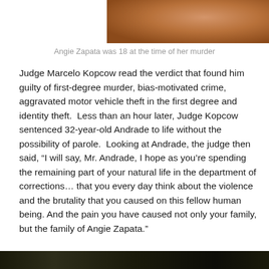[Figure (photo): Partial photo of Angie Zapata, cropped, showing warm brown tones]
Angie Zapata was 18 at the time of her murder
Judge Marcelo Kopcow read the verdict that found him guilty of first-degree murder, bias-motivated crime, aggravated motor vehicle theft in the first degree and identity theft.  Less than an hour later, Judge Kopcow sentenced 32-year-old Andrade to life without the possibility of parole.  Looking at Andrade, the judge then said, “I will say, Mr. Andrade, I hope as you’re spending the remaining part of your natural life in the department of corrections… that you every day think about the violence and the brutality that you caused on this fellow human being. And the pain you have caused not only your family, but the family of Angie Zapata.”
[Figure (photo): Partial photo at bottom of page, dark tones, cropped]